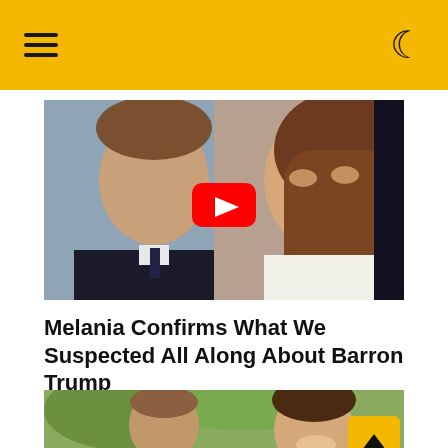Navigation header with hamburger menu and moon/dark-mode icon on yellow/gold background
[Figure (photo): Video thumbnail showing a boy in a dark suit and a woman with long brown hair, with a YouTube play button overlay]
Melania Confirms What We Suspected All Along About Barron Trump
INSTANTHUB
[Figure (photo): Partial photo showing a man and a woman outdoors, partially cropped at the bottom of the page]